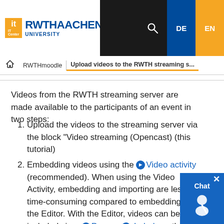[Figure (logo): RWTH Aachen University IT Center logo with navigation bar showing search, DE and EN language options]
🏠 RWTHmoodle | Upload videos to the RWTH streaming s...
Videos from the RWTH streaming server are made available to the participants of an event in two steps:
1. Upload the videos to the streaming server via the block "Video streaming (Opencast) (this tutorial)
2. Embedding videos using the Video activity (recommended). When using the Video Activity, embedding and importing are less time-consuming compared to embedding via the Editor. With the Editor, videos can be included via a Page, a Label or other places such as forum posts or book chapters where the editor is available. There they are then visible and playable for the participants (Tutorial)
3. Another particularly space-saving option for us...